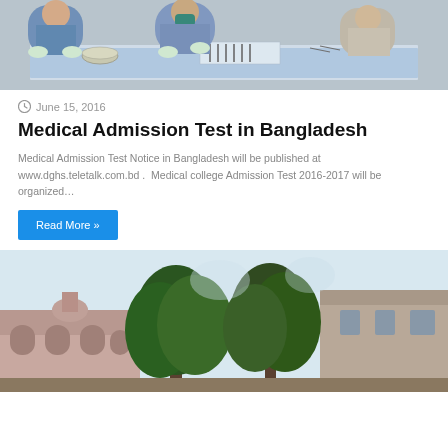[Figure (photo): Medical team in blue scrubs and gloves working at a table with surgical instruments, bowls, and tools laid out on a blue drape.]
June 15, 2016
Medical Admission Test in Bangladesh
Medical Admission Test Notice in Bangladesh will be published at www.dghs.teletalk.com.bd .  Medical college Admission Test 2016-2017 will be organized…
Read More »
[Figure (photo): Exterior view of a building with arched architecture partially obscured by large green trees.]